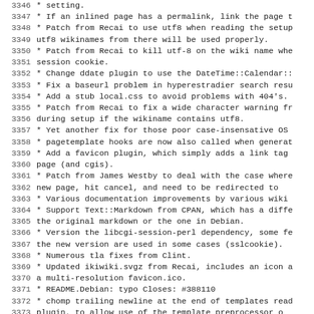3346 * setting.
3347 * If an inlined page has a permalink, link the page t
3348 * Patch from Recai to use utf8 when reading the setup
3349   utf8 wikinames from there will be used properly.
3350 * Patch from Recai to kill utf-8 on the wiki name whe
3351   session cookie.
3352 * Change ddate plugin to use the DateTime::Calendar::
3353 * Fix a baseurl problem in hyperestradier search resu
3354 * Add a stub local.css to avoid problems with 404's.
3355 * Patch from Recai to fix a wide character warning fr
3356   during setup if the wikiname contains utf8.
3357 * Yet another fix for those poor case-insensative OS
3358 * pagetemplate hooks are now also called when generat
3359 * Add a favicon plugin, which simply adds a link tag
3360   page (and cgis).
3361 * Patch from James Westby to deal with the case where
3362   new page, hit cancel, and need to be redirected to
3363 * Various documentation improvements by various wiki
3364 * Support Text::Markdown from CPAN, which has a diffe
3365   the original markdown or the one in Debian.
3366 * Version the libcgi-session-perl dependency, some fe
3367   the new version are used in some cases (sslcookie).
3368 * Numerous tla fixes from Clint.
3369 * Updated ikiwiki.svgz from Recai, includes an icon a
3370   a multi-resolution favicon.ico.
3371 * README.Debian: typo Closes: #388110
3372 * chomp trailing newline at the end of templates read
3373   plugin, to allow use of the template preprocessor o
3374   whitespace-sensative situations. Closes: #387073
3375 * Patch from James Westby to make the location of the
3376   configurable.
3377 * Add typography (SmartyPants) plugin by Recai.
3378 * Add --render mode, which can be used to preview an